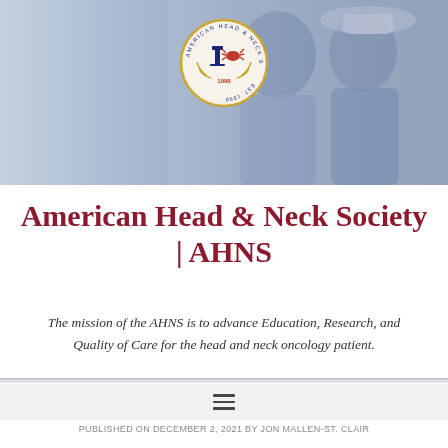[Figure (photo): Header banner with American Head & Neck Society logo centered over a blue-tinted photo of two people (a man and a woman) smiling, with the AHNS circular seal/crest visible.]
American Head & Neck Society | AHNS
The mission of the AHNS is to advance Education, Research, and Quality of Care for the head and neck oncology patient.
[Figure (other): Hamburger navigation menu icon (three horizontal lines)]
PUBLISHED ON DECEMBER 2, 2021 BY JON MALLEN-ST. CLAIR